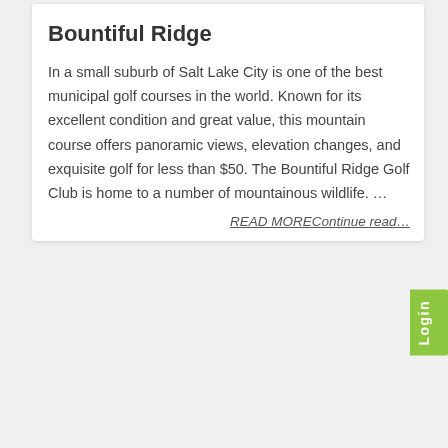Bountiful Ridge
In a small suburb of Salt Lake City is one of the best municipal golf courses in the world. Known for its excellent condition and great value, this mountain course offers panoramic views, elevation changes, and exquisite golf for less than $50. The Bountiful Ridge Golf Club is home to a number of mountainous wildlife. ...
READ MOREContinue read…
[Figure (photo): Panoramic outdoor photo showing a bright blue sky with white fluffy clouds, green trees along the bottom, and buildings visible in the lower left — taken at The Belfry golf resort.]
The Belfry
The Belfry, a golf resort in Wishaw, Warwickshire, England. This private